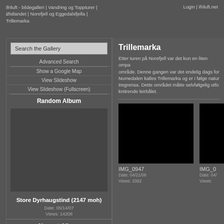ifriluft - bildegalleri | Vandring og Toppturer | Østlandet | Norefjell og Eggedalsfjella | Trillemarka
Login | ifriluft.net
Search the Gallery
Advanced Search
Show a Google Map
View Slideshow
View Slideshow (Fullscreen)
Random Album
Store Dyrhaugstind (2147 moh)
Date: 05/14/07
Views: 14208
Newest Album
Trillemarka
Etter turen på Norefjell var det kun en liten ompa område. Denne gangen var det endelig dags for Numedalen kalles Trillemarka og er i følge natur tregrensa. Dette området måtte selvfølgelig utfo knitrende leirbålet.
[Figure (photo): Black photo thumbnail labeled IMG_0947]
IMG_0947
Date: 04/21/06
Views: 3392
[Figure (photo): Black photo thumbnail labeled IMG_0 (partially visible)]
IMG_0...
Date: 04/...
Views: ...